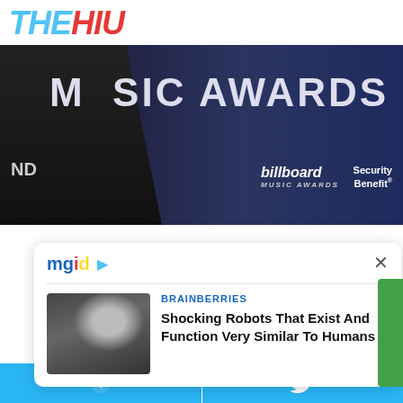[Figure (logo): THEHIU logo in stylized italic font, THE in light blue and HIU in red]
[Figure (photo): Person in black dress at Billboard Music Awards red carpet event, billboard and Security Benefit logos visible]
[Figure (infographic): MGID advertisement widget showing a Brainberries article: Shocking Robots That Exist And Function Very Similar To Humans, with thumbnail of two people]
[Figure (screenshot): Social sharing bar at bottom with Facebook and Twitter icons on light blue background]